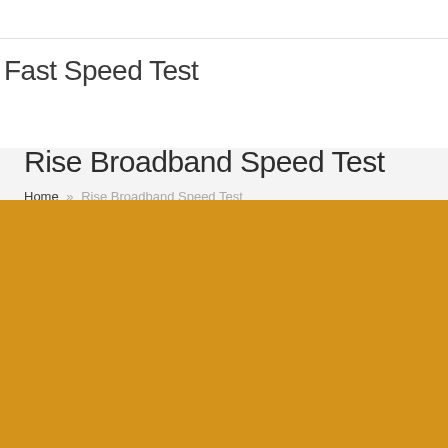Fast Speed Test
Rise Broadband Speed Test
Home » Rise Broadband Speed Test
[Figure (other): Golden/amber colored background section filling the bottom portion of the page]